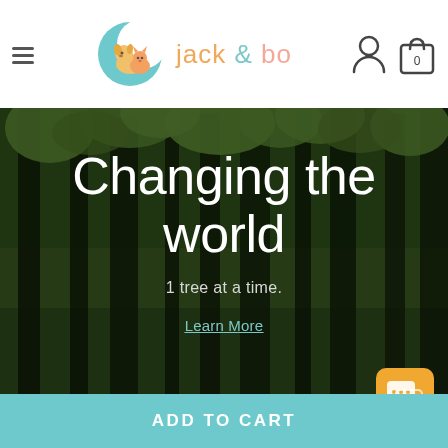[Figure (logo): Jack & Bo brand logo: teal crescent moon with a golden puppy and orange cat sleeping on it, beside the text 'jack & bo' in yellow-orange and teal colors]
Changing the world
1 tree at a time.
Learn More
[Figure (photo): Forest scene with tall dark tree trunks and green foliage, misty/rainy atmosphere]
ADD TO CART